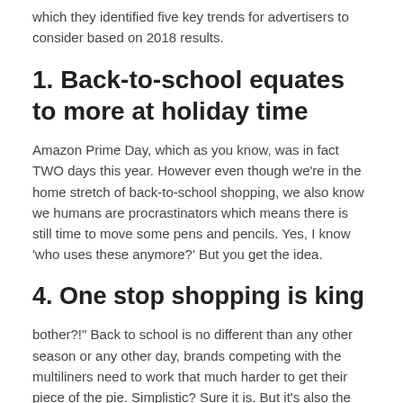which they identified five key trends for advertisers to consider based on 2018 results.
1. Back-to-school equates to more at holiday time
Amazon Prime Day, which as you know, was in fact TWO days this year. However even though we're in the home stretch of back-to-school shopping, we also know we humans are procrastinators which means there is still time to move some pens and pencils. Yes, I know 'who uses these anymore?' But you get the idea.
4. One stop shopping is king
bother?!" Back to school is no different than any other season or any other day, brands competing with the multiliners need to work that much harder to get their piece of the pie. Simplistic? Sure it is. But it's also the truth.
5. Online plus in-store shoppers rock